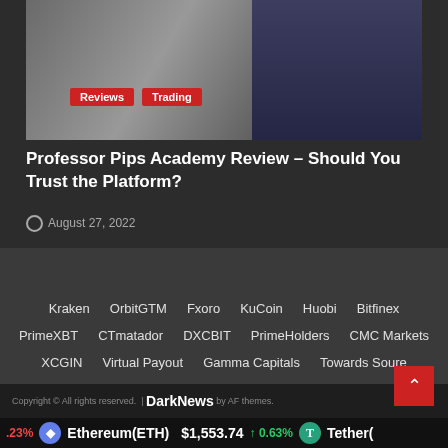[Figure (photo): Hero image of a person in dark clothing, with category badge overlays for Reviews and Trading]
Professor Pips Academy Review – Should You Trust the Platform?
August 27, 2022
Kraken
OrbitGTM
Fxoro
KuCoin
Huobi
Bitfinex
PrimeXBT
CTmatador
DXCBIT
PrimeHolders
CMC Markets
XCGIN
Virtual Payout
Gamma Capitals
Towards Soure
CoinsMarkets
ArgoTrade
Global Solution
CTProz
Alfabtc
JP Crypto
PrestigeCoins
Copyright © All rights reserved. | DarkNews by AF themes.
.23%  Ethereum(ETH)  $1,553.74  ↑ 0.63%  Tether(